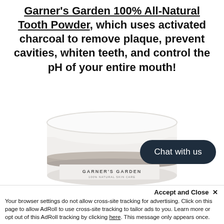Garner's Garden 100% All-Natural Tooth Powder, which uses activated charcoal to remove plaque, prevent cavities, whiten teeth, and control the pH of your entire mouth!
[Figure (photo): A white cylindrical jar of Garner's Garden 100% Natural Skin Care tooth powder, shown from slightly above, with a white lid and a dark band around the middle of the jar.]
Chat with us
Accept and Close ✕
Your browser settings do not allow cross-site tracking for advertising. Click on this page to allow AdRoll to use cross-site tracking to tailor ads to you. Learn more or opt out of this AdRoll tracking by clicking here. This message only appears once.